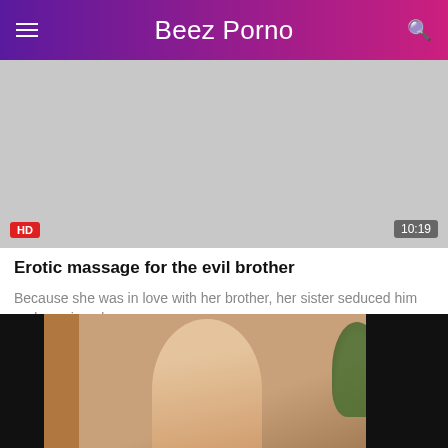Beez Porno
[Figure (photo): Video thumbnail placeholder (grey area) with HD badge and 10:19 duration badge]
Erotic massage for the evil brother
Because she was in love with her brother, her sister seduced him and convinced …
[Figure (photo): Video still showing a young woman with red hair in a white tank top, standing near a wooden wall and a plant]